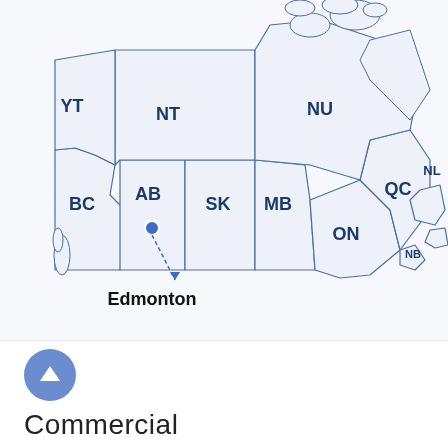[Figure (map): Map of Canada showing provinces and territories with abbreviations (YT, NT, NU, BC, AB, SK, MB, ON, QC, NL, NB) and a blue dot marker on Alberta (AB) with a dashed arrow pointing down to the label 'Edmonton'.]
Edmonton
Commercial